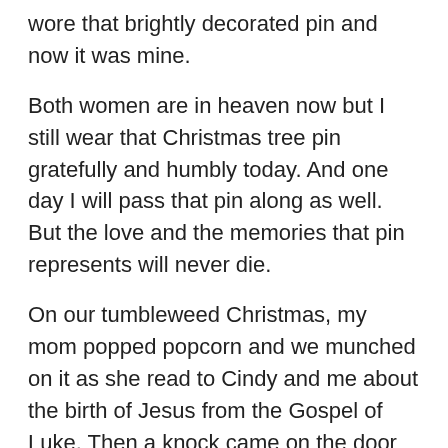wore that brightly decorated pin and now it was mine.
Both women are in heaven now but I still wear that Christmas tree pin gratefully and humbly today. And one day I will pass that pin along as well. But the love and the memories that pin represents will never die.
On our tumbleweed Christmas, my mom popped popcorn and we munched on it as she read to Cindy and me about the birth of Jesus from the Gospel of Luke. Then a knock came on the door and when we opened it no one was there, but a box was sitting on the porch. We brought it in and it contained eggs, bread, milk, oranges, colorful, hard Christmas candy,